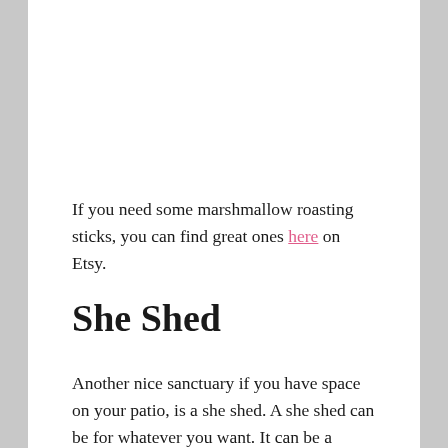If you need some marshmallow roasting sticks, you can find great ones here on Etsy.
She Shed
Another nice sanctuary if you have space on your patio, is a she shed. A she shed can be for whatever you want. It can be a crafting corner or a reading nook. It can be a place to sit and meditate or a place for you to go and